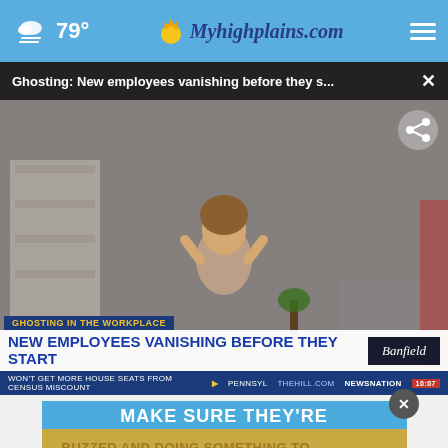79° Myhighplains.com
Ghosting: New employees vanishing before they s...
[Figure (screenshot): News broadcast screenshot showing a stressed woman with hands on temples in an office setting. Lower third shows 'GHOSTING IN THE WORKPLACE' label, headline 'NEW EMPLOYEES VANISHING BEFORE THEY START', Banfield logo, and news ticker 'WON'T GET MORE HOUSE SEATS FROM CENSUS MISCOUNT ... PENNSYL... THEHILL.COM NEWSNATION'. Share icon visible top right.]
[Figure (screenshot): Advertisement banner with blue background showing 'MAKE SURE THEY'RE' text and yellow box with text 'BUZZED AND DOING SOMETHING TO MAKE YOURSELF OKAY TO DRIVE?'. Close button visible.]